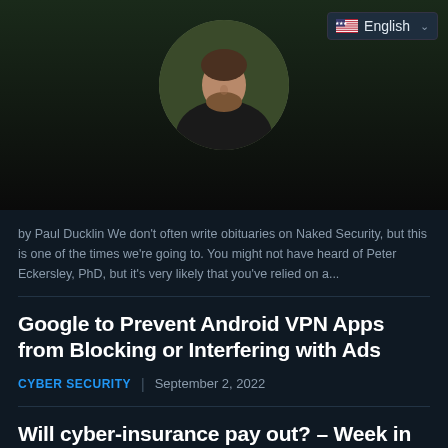[Figure (photo): Hero image showing a man with a beard in a dark shirt, with a circular avatar crop against a dark/green background. Language selector badge showing US flag and 'English' with dropdown chevron in top right.]
by Paul Ducklin We don't often write obituaries on Naked Security, but this is one of the times we're going to. You might not have heard of Peter Eckersley, PhD, but it's very likely that you've relied on a...
Google to Prevent Android VPN Apps from Blocking or Interfering with Ads
CYBER SECURITY | September 2, 2022
Will cyber-insurance pay out? – Week in security with Tony Anscombe